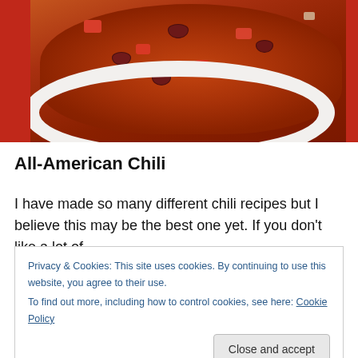[Figure (photo): A white bowl of All-American Chili with visible red kidney beans and tomato chunks, placed on a red surface. The photo is taken from above showing the chili filling the bowl.]
All-American Chili
I have made so many different chili recipes but I believe this may be the best one yet.  If you don't like a lot of
Privacy & Cookies: This site uses cookies. By continuing to use this website, you agree to their use.
To find out more, including how to control cookies, see here: Cookie Policy
[Close and accept]
yet, serve this to your football fans